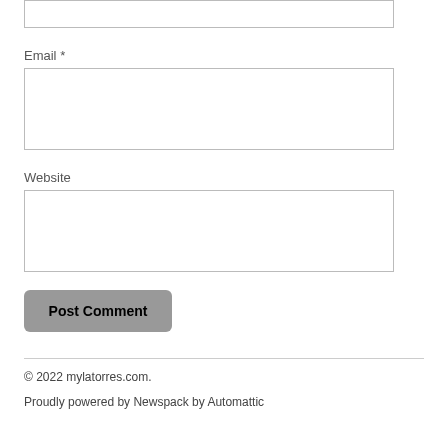[Figure (other): Empty text input box at top of page (partial, cropped)]
Email *
[Figure (other): Email text input box]
Website
[Figure (other): Website text input box]
Post Comment
© 2022 mylatorres.com.
Proudly powered by Newspack by Automattic